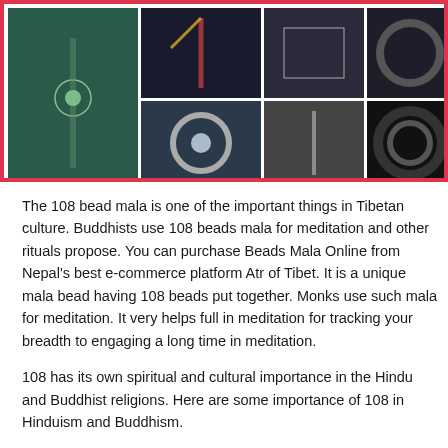[Figure (photo): Collage of multiple photos showing mala beads in various styles and arrangements, with a red/pink border frame]
The 108 bead mala is one of the important things in Tibetan culture. Buddhists use 108 beads mala for meditation and other rituals propose. You can purchase Beads Mala Online from Nepal's best e-commerce platform Atr of Tibet. It is a unique mala bead having 108 beads put together. Monks use such mala for meditation. It very helps full in meditation for tracking your breadth to engaging a long time in meditation.
108 has its own spiritual and cultural importance in the Hindu and Buddhist religions. Here are some importance of 108 in Hinduism and Buddhism.
The span from the earth to the Sun is "108" times the diameter of the Sun.
The Sun is "108" times the diameter of our Earth.
In Vedic astrology, we use nine planets (Sun, Moon, Mars, Mercury, Jupiter, Venus, Saturn, North node Rahu, and south